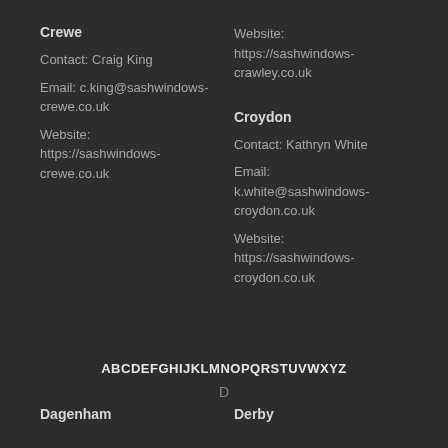Website: https://sashwindows-crawley.co.uk
Crewe
Contact: Craig King
Email: c.king@sashwindows-crewe.co.uk
Website: https://sashwindows-crewe.co.uk
Croydon
Contact: Kathryn White
Email: k.white@sashwindows-croydon.co.uk
Website: https://sashwindows-croydon.co.uk
ABCDEFGHIJKLMNOPQRSTUVWXYZ
D
Dagenham
Derby